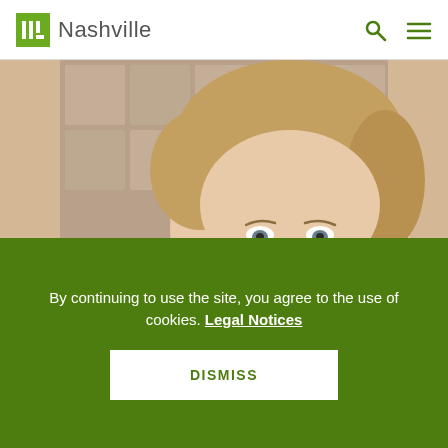ULI Nashville
[Figure (photo): Portrait photograph of Trinity Hart, a woman with light skin and short blonde hair, wearing a dark jacket, photographed indoors with a decorative background.]
SPEAKER
Trinity Hart
By continuing to use the site, you agree to the use of cookies. Legal Notices
DISMISS